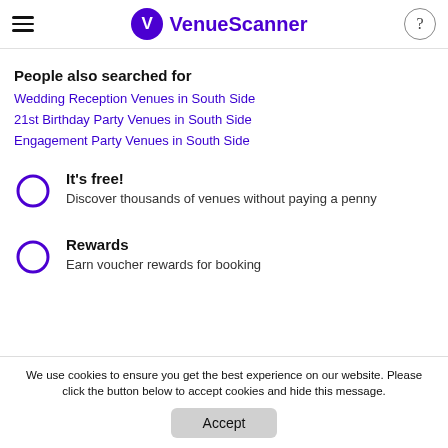VenueScanner
People also searched for
Wedding Reception Venues in South Side
21st Birthday Party Venues in South Side
Engagement Party Venues in South Side
It's free! Discover thousands of venues without paying a penny
Rewards Earn voucher rewards for booking
We use cookies to ensure you get the best experience on our website. Please click the button below to accept cookies and hide this message.